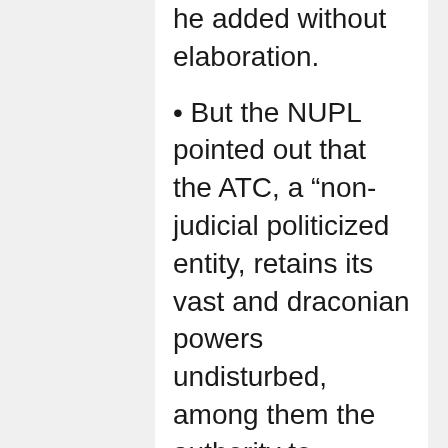he added without elaboration.
But the NUPL pointed out that the ATC, a “non-judicial politicized entity, retains its vast and draconian powers undisturbed, among them the authority to examine bank accounts and freeze assets, unilaterally designate individuals and organizations as terrorists and apply for broad surveillance powers – all without notice and hearing.”
Disquiet will hang heavily